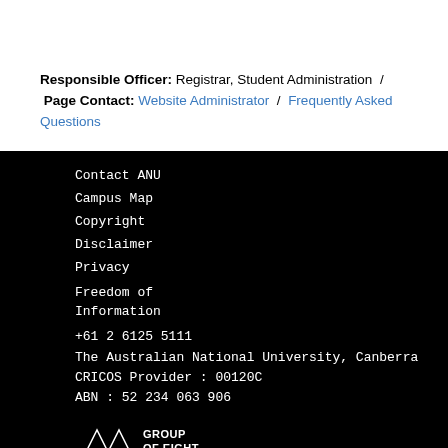Responsible Officer: Registrar, Student Administration / Page Contact: Website Administrator / Frequently Asked Questions
Contact ANU
Campus Map
Copyright
Disclaimer
Privacy
Freedom of Information
+61 2 6125 5111
The Australian National University, Canberra
CRICOS Provider : 00120C
ABN : 52 234 063 906
[Figure (logo): Group of Eight Australia logo — geometric diamond shape made of triangles in white, beside text GROUP OF EIGHT AUSTRALIA]